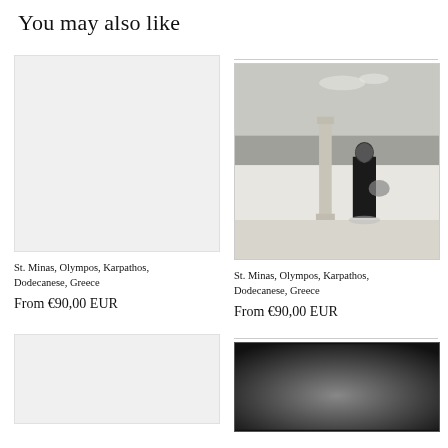You may also like
[Figure (photo): Blank light gray placeholder image for product 1]
St. Minas, Olympos, Karpathos, Dodecanese, Greece
From €90,00 EUR
[Figure (photo): Black and white photo of a woman in traditional dress standing on a terrace with a stone column, looking out to sea]
St. Minas, Olympos, Karpathos, Dodecanese, Greece
From €90,00 EUR
[Figure (photo): Blank light gray placeholder image for product 3]
[Figure (photo): Dark gradient / dark photo for product 4]